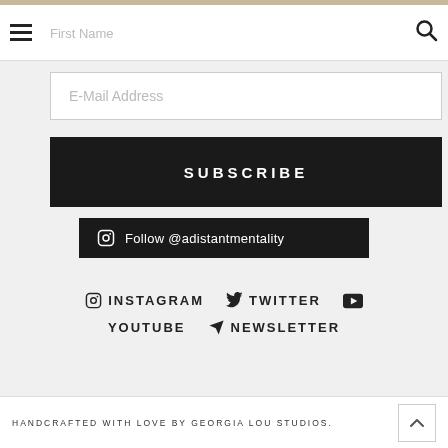First Name
E-Mail Address
SUBSCRIBE
Instagram … Follow @adistantmentality … data.
INSTAGRAM  TWITTER  YOUTUBE  NEWSLETTER
HANDCRAFTED WITH LOVE BY GEORGIA LOU STUDIOS.